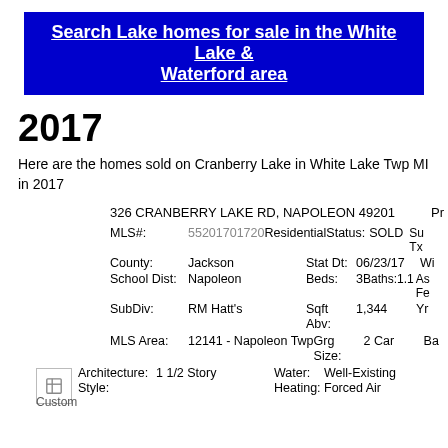Search Lake homes for sale in the White Lake & Waterford area
2017
Here are the homes sold on Cranberry Lake in White Lake Twp MI in 2017
| Field | Value | Field | Value | Extra |
| --- | --- | --- | --- | --- |
| 326 CRANBERRY LAKE RD, NAPOLEON 49201 |  |  |  | Pr |
| MLS#: | 55201701720 | ResidentialStatus: | SOLD | Su Tx |
| County: | Jackson | Stat Dt: | 06/23/17 | Wi |
| School Dist: | Napoleon | Beds: | 3Baths:1.1 | As Fe |
| SubDiv: | RM Hatt's | Sqft Abv: | 1,344 | Yr |
| MLS Area: | 12141 - Napoleon Twp | Grg Size: | 2 Car | Ba |
| Architecture: | 1 1/2 Story | Water: | Well-Existing |  |
| Style: |  | Heating: | Forced Air |  |